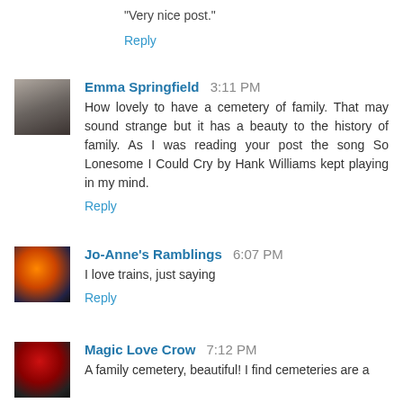"Very nice post."
Reply
Emma Springfield 3:11 PM
How lovely to have a cemetery of family. That may sound strange but it has a beauty to the history of family. As I was reading your post the song So Lonesome I Could Cry by Hank Williams kept playing in my mind.
Reply
Jo-Anne's Ramblings 6:07 PM
I love trains, just saying
Reply
Magic Love Crow 7:12 PM
A family cemetery, beautiful! I find cemeteries are a